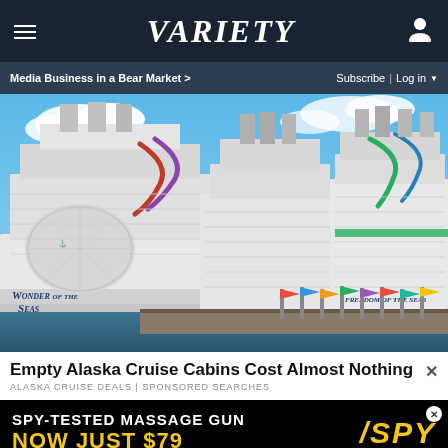VARIETY — Media Business in a Bear Market > | Subscribe | Log in
[Figure (photo): Large cruise ships docked at port, including Wonder of the Seas and Freedom of the Seas, under blue sky with clouds]
Empty Alaska Cruise Cabins Cost Almost Nothing
ALASKA CRUISE DEALS | SPONSORED SEARCHES
[Figure (infographic): Advertisement banner: SPY-TESTED MASSAGE GUN NOW JUST $79 with SPY logo]